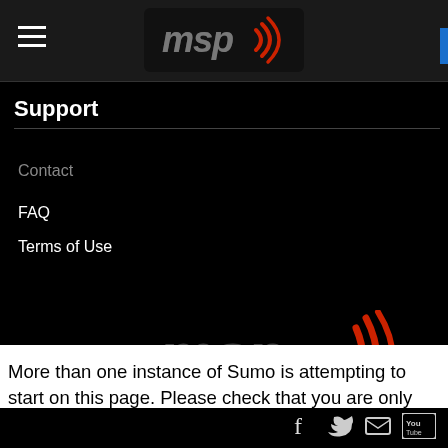MSP (Motor Sport Podcast) - navigation header with hamburger menu and logo
Support
Contact
FAQ
Terms of Use
[Figure (logo): MSP (Motor Sport Podcast) large red logo with tagline]
[Figure (infographic): Social media icons: Facebook, Twitter, Email, YouTube]
© COPYRIGHT 2019. ALL RIGHTS RESERVED.
More than one instance of Sumo is attempting to start on this page. Please check that you are only loading Sumo once per page.